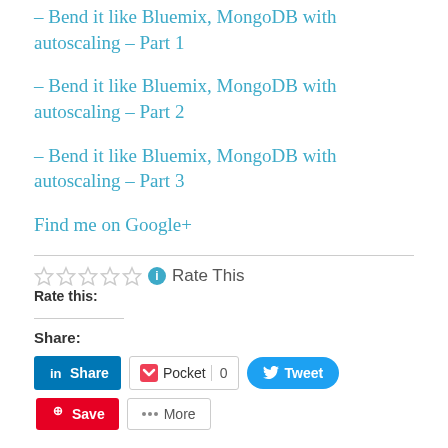– Bend it like Bluemix, MongoDB with autoscaling – Part 1
– Bend it like Bluemix, MongoDB with autoscaling – Part 2
– Bend it like Bluemix, MongoDB with autoscaling – Part 3
Find me on Google+
Rate this:  Rate This
Share:
[Figure (other): Share buttons: LinkedIn Share, Pocket 0, Tweet, Pinterest Save, More]